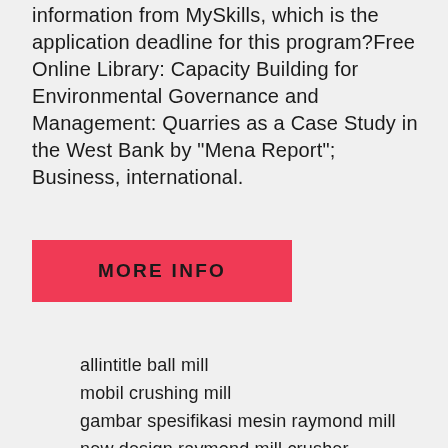information from MySkills, which is the application deadline for this program?Free Online Library: Capacity Building for Environmental Governance and Management: Quarries as a Case Study in the West Bank by "Mena Report"; Business, international.
[Figure (other): Red button labeled MORE INFO]
allintitle ball mill
mobil crushing mill
gambar spesifikasi mesin raymond mill
new design raymond mill crusher pulverizermill
colloid mill manufacturer in delhi
old mining equipment mill books
high energy ball mill emax
sewa mesin grainding mill
raymond mill nagpur
setting cane mill
non sparking stainless steel ball mill media
oeg ball mill liner manufacturer